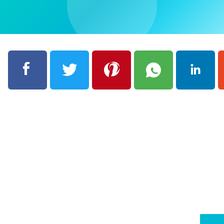[Figure (screenshot): Teal/cyan gradient header bar with a subtle white circular shape centered at the top.]
[Figure (infographic): A row of social sharing buttons: Facebook (blue), Twitter (light blue), Pinterest (red), WhatsApp (green), LinkedIn (dark blue), Reddit (orange-red), Email (black), Print (black), and a More (+) button with white background and border.]